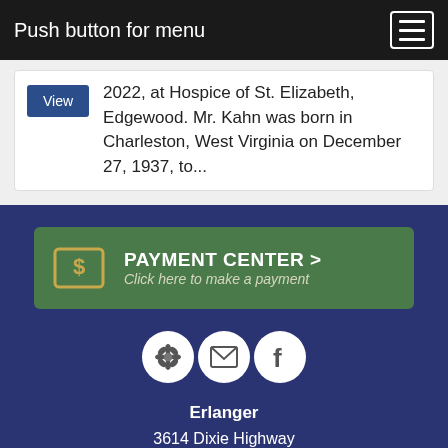Push button for menu
2022, at Hospice of St. Elizabeth, Edgewood. Mr. Kahn was born in Charleston, West Virginia on December 27, 1937, to...
[Figure (infographic): Payment Center button with dollar sign icon. Text: PAYMENT CENTER > Click here to make a payment]
[Figure (infographic): Three social media icons in white circles: flower/tribute icon, email/envelope icon, Facebook icon]
Erlanger
3614 Dixie Highway
Erlanger, KY 41018
Tel: 1-859-431-1718